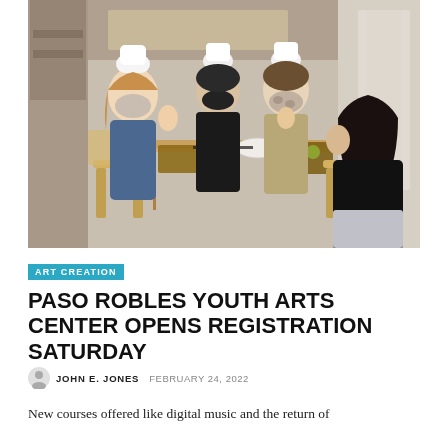[Figure (photo): Four young people wearing white chef hats and face masks sitting around a wooden table, working on what appears to be a cooking or food art activity. The setting looks like a classroom or art studio. Items on the table include cutting boards, vegetables, and other food items.]
ART CREATION
PASO ROBLES YOUTH ARTS CENTER OPENS REGISTRATION SATURDAY
JOHN E. JONES  FEBRUARY 24, 2022
New courses offered like digital music and the return of